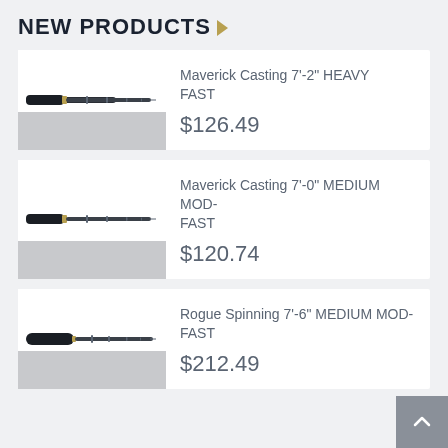NEW PRODUCTS
[Figure (photo): Fishing rod product image - Maverick Casting 7'-2" HEAVY FAST]
Maverick Casting 7'-2" HEAVY FAST
$126.49
[Figure (photo): Fishing rod product image - Maverick Casting 7'-0" MEDIUM MOD-FAST]
Maverick Casting 7'-0" MEDIUM MOD-FAST
$120.74
[Figure (photo): Fishing rod product image - Rogue Spinning 7'-6" MEDIUM MOD-FAST]
Rogue Spinning 7'-6" MEDIUM MOD-FAST
$212.49